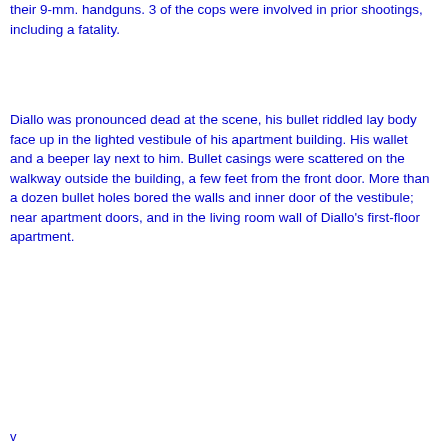their 9-mm. handguns. 3 of the cops were involved in prior shootings, including a fatality.
Diallo was pronounced dead at the scene, his bullet riddled lay body face up in the lighted vestibule of his apartment building. His wallet and a beeper lay next to him. Bullet casings were scattered on the walkway outside the building, a few feet from the front door. More than a dozen bullet holes bored the walls and inner door of the vestibule; near apartment doors, and in the living room wall of Diallo's first-floor apartment.
v